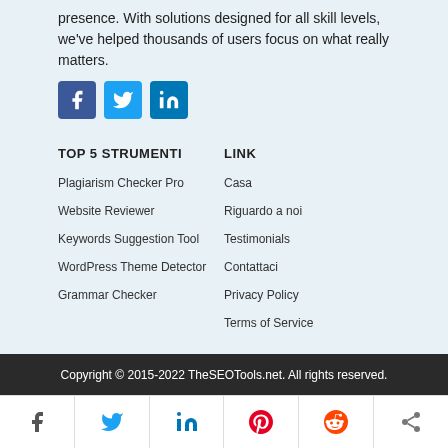presence. With solutions designed for all skill levels, we've helped thousands of users focus on what really matters.
[Figure (infographic): Three social media icon buttons: Facebook (blue), Twitter (light blue), LinkedIn (dark blue)]
TOP 5 STRUMENTI
LINK
Plagiarism Checker Pro
Casa
Website Reviewer
Riguardo a noi
Keywords Suggestion Tool
Testimonials
WordPress Theme Detector
Contattaci
Grammar Checker
Privacy Policy
Terms of Service
Copyright © 2015-2022 TheSEOTools.net. All rights reserved.
[Figure (infographic): Share bar with six icons: Facebook, Twitter, LinkedIn, Pinterest, Reddit, Share]